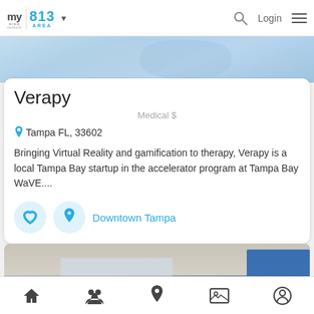my area network | 813 AREA | Login
[Figure (photo): Blurry close-up of hands, blue-toned healthcare/medical image]
Verapy
Medical $
Tampa FL, 33602
Bringing Virtual Reality and gamification to therapy, Verapy is a local Tampa Bay startup in the accelerator program at Tampa Bay WaVE....
Downtown Tampa
[Figure (photo): Group photo of people at an event with a branded backdrop]
Home | People | Location | Photo | Profile